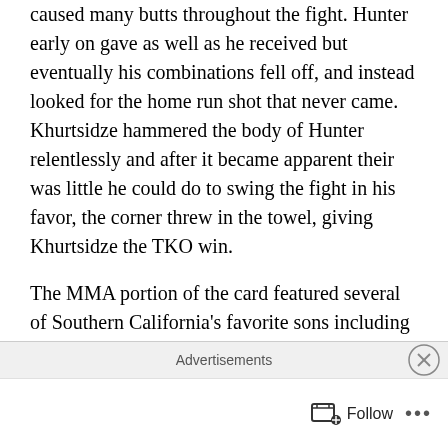caused many butts throughout the fight. Hunter early on gave as well as he received but eventually his combinations fell off, and instead looked for the home run shot that never came. Khurtsidze hammered the body of Hunter relentlessly and after it became apparent their was little he could do to swing the fight in his favor, the corner threw in the towel, giving Khurtsidze the TKO win.
The MMA portion of the card featured several of Southern California's favorite sons including Derion Chapman, Richard Leroy, Thor Skancke, Daniel Clark, Dmitry Gerasimov, Bronson Casarez, Christian Bizaretty, Adel Al Tamimi, Gabriel Lopez, and Matthew Spencer.
Christian Bizaretty withstood an early attack from Adel Al
Advertisements